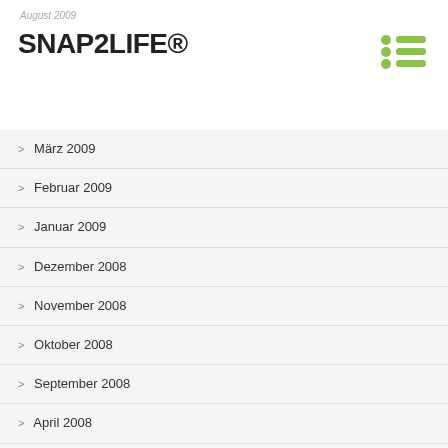August 2009
SNAP2LIFE®
März 2009
Februar 2009
Januar 2009
Dezember 2008
November 2008
Oktober 2008
September 2008
April 2008
März 2008
Januar 2008
Dezember 2007
November 2007